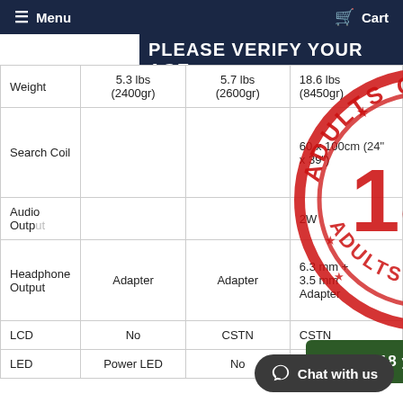Menu   Cart
PLEASE VERIFY YOUR AGE
|  |  |  |  |
| --- | --- | --- | --- |
| Weight | 5.3 lbs (2400gr) | 5.7 lbs (2600gr) | 18.6 lbs (8450gr) |
| Search Coil |  |  | 60 x 100cm (24" x 39") |
| Audio Output |  |  | 2W |
| Headphone Output | Adapter | Adapter | 6.3 mm + 3.5 mm Adapter |
| LCD | No | CSTN | CSTN |
| LED | Power LED | No |  |
[Figure (illustration): Red circular stamp reading 'ADULTS ONLY 18+' with stars, overlaid on the table]
I am 18 years or older
Chat with us